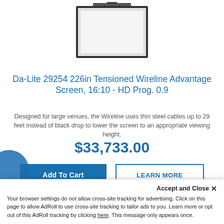[Figure (photo): Projection screen product photo - motorized screen with black border, viewed from front, mounted near ceiling, partially visible at top of page]
Da-Lite 29254 226in Tensioned Wireline Advantage Screen, 16:10 - HD Prog. 0.9
Designed for large venues, the Wireline uses thin steel cables up to 29 feet instead of black drop to lower the screen to an appropriate viewing height.
$33,733.00
Add To Cart
LEARN MORE
[Figure (photo): Second projection screen product photo - motorized screen with white casing on top and black border frame, partially visible at bottom of page]
Accept and Close ✕
Your browser settings do not allow cross-site tracking for advertising. Click on this page to allow AdRoll to use cross-site tracking to tailor ads to you. Learn more or opt out of this AdRoll tracking by clicking here. This message only appears once.